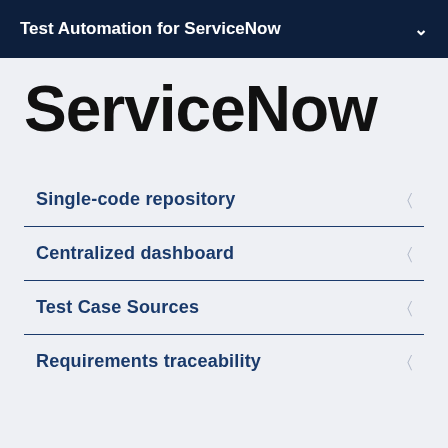Test Automation for ServiceNow
ServiceNow
Single-code repository
Centralized dashboard
Test Case Sources
Requirements traceability